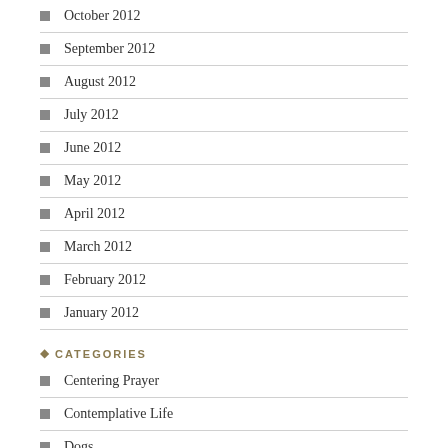October 2012
September 2012
August 2012
July 2012
June 2012
May 2012
April 2012
March 2012
February 2012
January 2012
CATEGORIES
Centering Prayer
Contemplative Life
Dogs